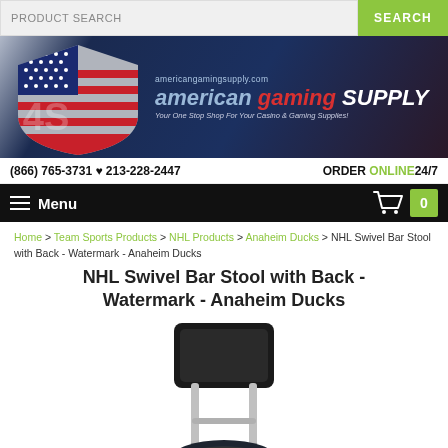PRODUCT SEARCH | SEARCH
[Figure (logo): American Gaming Supply banner logo with AGS shield and text: americangamingsupply.com, american gaming SUPPLY, Your One Stop Shop For Your Casino & Gaming Supplies!]
(866) 765-3731 ♥ 213-228-2447    ORDER ONLINE24/7
Menu  [cart icon] 0
Home > Team Sports Products > NHL Products > Anaheim Ducks > NHL Swivel Bar Stool with Back - Watermark - Anaheim Ducks
NHL Swivel Bar Stool with Back - Watermark - Anaheim Ducks
[Figure (photo): Product photo of a black NHL Anaheim Ducks swivel bar stool with back rest. The stool has a chrome frame, black padded back, and a round black seat with the Anaheim Ducks logo/watermark on it.]